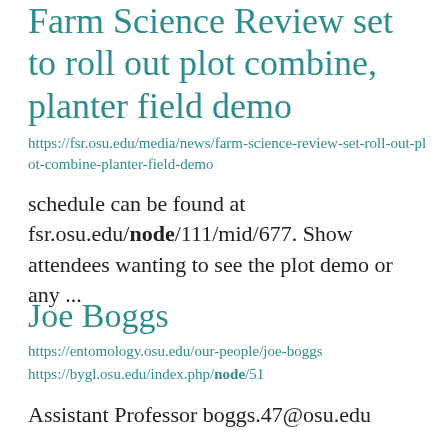Farm Science Review set to roll out plot combine, planter field demo
https://fsr.osu.edu/media/news/farm-science-review-set-roll-out-plot-combine-planter-field-demo
schedule can be found at fsr.osu.edu/node/111/mid/677. Show attendees wanting to see the plot demo or any ...
Joe Boggs
https://entomology.osu.edu/our-people/joe-boggs
https://bygl.osu.edu/index.php/node/51
Assistant Professor boggs.47@osu.edu